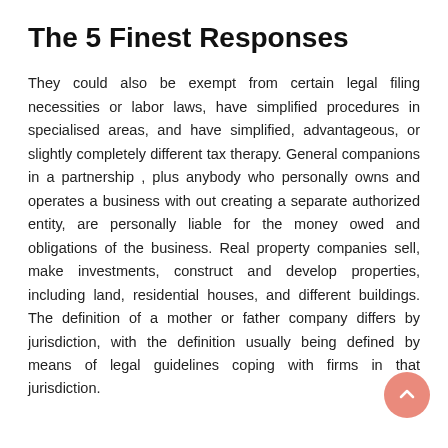The 5 Finest Responses
They could also be exempt from certain legal filing necessities or labor laws, have simplified procedures in specialised areas, and have simplified, advantageous, or slightly completely different tax therapy. General companions in a partnership , plus anybody who personally owns and operates a business with out creating a separate authorized entity, are personally liable for the money owed and obligations of the business. Real property companies sell, make investments, construct and develop properties, including land, residential houses, and different buildings. The definition of a mother or father company differs by jurisdiction, with the definition usually being defined by means of legal guidelines coping with firms in that jurisdiction.